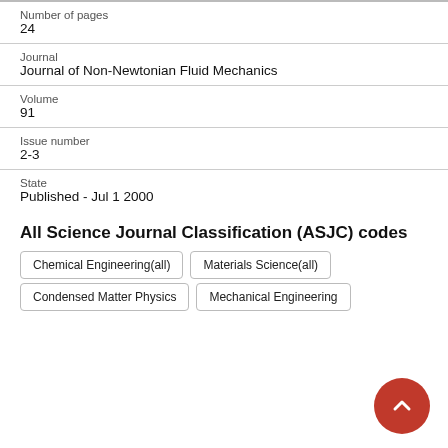| Number of pages | 24 |
| Journal | Journal of Non-Newtonian Fluid Mechanics |
| Volume | 91 |
| Issue number | 2-3 |
| State | Published - Jul 1 2000 |
All Science Journal Classification (ASJC) codes
Chemical Engineering(all)
Materials Science(all)
Condensed Matter Physics
Mechanical Engineering